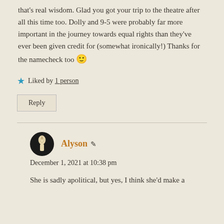that's real wisdom. Glad you got your trip to the theatre after all this time too. Dolly and 9-5 were probably far more important in the journey towards equal rights than they've ever been given credit for (somewhat ironically!) Thanks for the namecheck too 🙂
★ Liked by 1 person
Reply
Alyson
December 1, 2021 at 10:38 pm
She is sadly apolitical, but yes, I think she'd make a